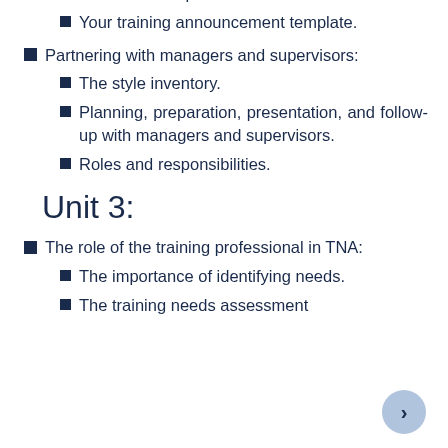Guidelines for promotional material.
Your training announcement template.
Partnering with managers and supervisors:
The style inventory.
Planning, preparation, presentation, and follow-up with managers and supervisors.
Roles and responsibilities.
Unit 3:
The role of the training professional in TNA:
The importance of identifying needs.
The training needs assessment